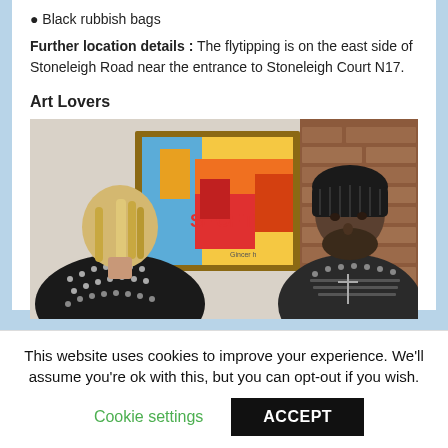Black rubbish bags
Further location details : The flytipping is on the east side of Stoneleigh Road near the entrance to Stoneleigh Court N17.
Art Lovers
[Figure (photo): Two people in studded leather jackets viewed from behind/side, looking at a colourful framed painting on a white gallery wall. The painting features bright reds, yellows, and blues with text including 'SE OF THE'.]
This website uses cookies to improve your experience. We'll assume you're ok with this, but you can opt-out if you wish.
Cookie settings   ACCEPT